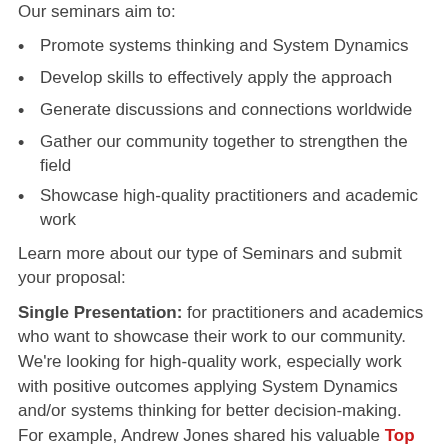Our seminars aim to:
Promote systems thinking and System Dynamics
Develop skills to effectively apply the approach
Generate discussions and connections worldwide
Gather our community together to strengthen the field
Showcase high-quality practitioners and academic work
Learn more about our type of Seminars and submit your proposal:
Single Presentation: for practitioners and academics who want to showcase their work to our community. We're looking for high-quality work, especially work with positive outcomes applying System Dynamics and/or systems thinking for better decision-making. For example, Andrew Jones shared his valuable Top 10 Tips to Engage People With a System Dynamics Model for over 350 participants...